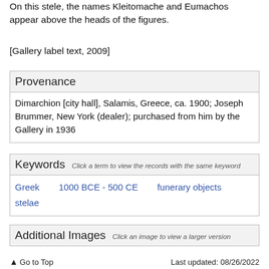On this stele, the names Kleitomache and Eumachos appear above the heads of the figures.
[Gallery label text, 2009]
Provenance
Dimarchion [city hall], Salamis, Greece, ca. 1900; Joseph Brummer, New York (dealer); purchased from him by the Gallery in 1936
Keywords Click a term to view the records with the same keyword
Greek
1000 BCE - 500 CE
funerary objects
stelae
Additional Images Click an image to view a larger version
Go to Top   Last updated: 08/26/2022